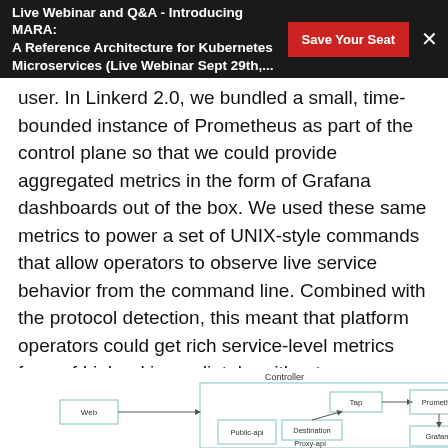Live Webinar and Q&A - Introducing MARA: A Reference Architecture for Kubernetes Microservices (Live Webinar Sept 29th,...
user. In Linkerd 2.0, we bundled a small, time-bounded instance of Prometheus as part of the control plane so that we could provide aggregated metrics in the form of Grafana dashboards out of the box. We used these same metrics to power a set of UNIX-style commands that allow operators to observe live service behavior from the command line. Combined with the protocol detection, this meant that platform operators could get rich service-level metrics from of Linkerd immediately, without configuration or complex setup.
[Figure (engineering-diagram): Architecture diagram showing Controller containing Tap, Destination, and Proxy-api components, with Web and Public-api on the left, and Prometheus and Grafana on the right, connected by arrows.]